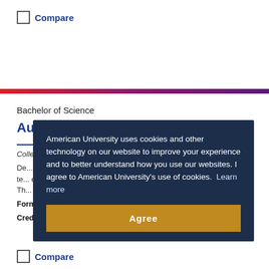Compare
Bachelor of Science
Audio Technology
College of Arts & Sciences
Develop... technology... The...
Format: On Campus
Credits: 120
American University uses cookies and other technology on our website to improve your experience and to better understand how you use our websites. I agree to American University's use of cookies. Learn more
Compare